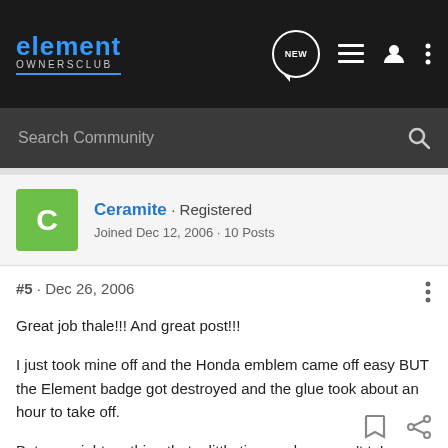element OWNERSCLUB
Search Community
Ceramite · Registered
Joined Dec 12, 2006 · 10 Posts
#5 · Dec 26, 2006
Great job thale!!! And great post!!!

I just took mine off and the Honda emblem came off easy BUT the Element badge got destroyed and the glue took about an hour to take off.

But your right, nothing that a little time and wax can't take care of!